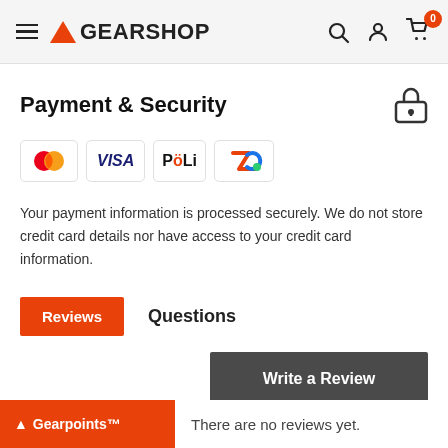GEARSHOP navigation header with cart icon showing 0 items
Payment & Security
[Figure (logo): Payment method logos: Mastercard, Visa, POLi, and Afterpay/Zip]
Your payment information is processed securely. We do not store credit card details nor have access to your credit card information.
Reviews | Questions
Write a Review
Gearpoints™  There are no reviews yet.